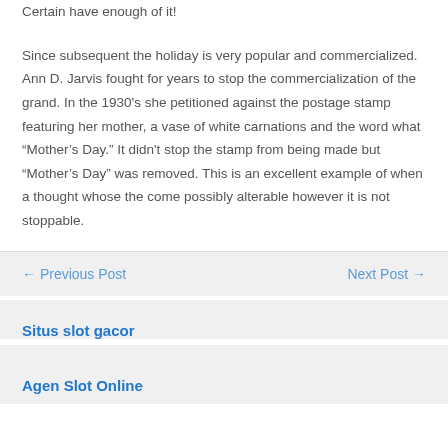Certain have enough of it!
Since subsequent the holiday is very popular and commercialized. Ann D. Jarvis fought for years to stop the commercialization of the grand. In the 1930's she petitioned against the postage stamp featuring her mother, a vase of white carnations and the word what “Mother’s Day.” It didn't stop the stamp from being made but “Mother’s Day” was removed. This is an excellent example of when a thought whose the come possibly alterable however it is not stoppable.
← Previous Post
Next Post →
Situs slot gacor
Agen Slot Online